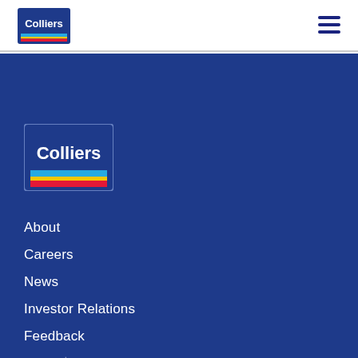[Figure (logo): Colliers logo in top white header bar]
[Figure (logo): Colliers logo large in blue navigation area]
About
Careers
News
Investor Relations
Feedback
[Figure (logo): TSX logo at bottom of blue area]